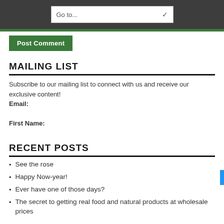Go to...
Post Comment
MAILING LIST
Subscribe to our mailing list to connect with us and receive our exclusive content!
Email:

First Name:
RECENT POSTS
See the rose
Happy Now-year!
Ever have one of those days?
The secret to getting real food and natural products at wholesale prices